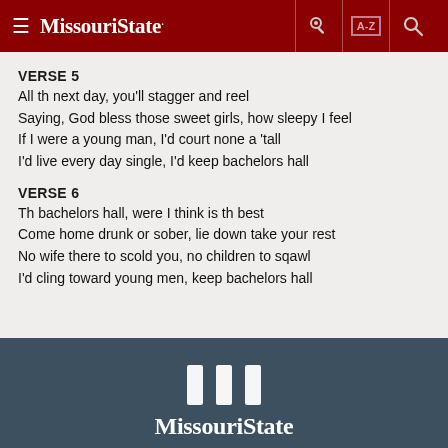≡ MissouriState. [key icon] [A-Z] [search icon]
VERSE 5
All th next day, you'll stagger and reel
Saying, God bless those sweet girls, how sleepy I feel
If I were a young man, I'd court none a 'tall
I'd live every day single, I'd keep bachelors hall
VERSE 6
Th bachelors hall, were I think is th best
Come home drunk or sober, lie down take your rest
No wife there to scold you, no children to sqawl
I'd cling toward young men, keep bachelors hall
MissouriState